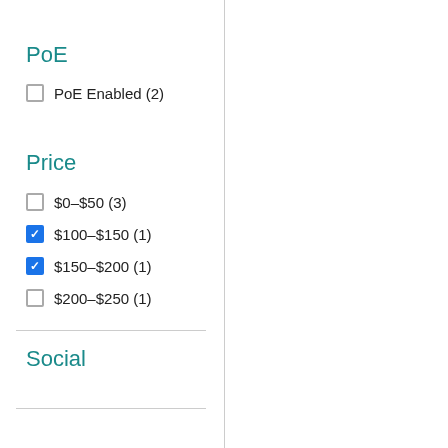PoE
PoE Enabled (2)
Price
$0–$50 (3)
$100–$150 (1)
$150–$200 (1)
$200–$250 (1)
Social